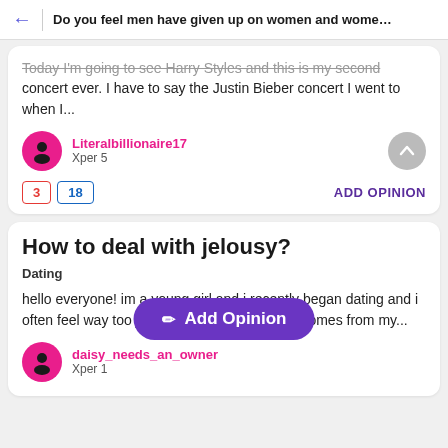Do you feel men have given up on women and women h...
Today I'm going to see Harry Styles and this is my second concert ever. I have to say the Justin Bieber concert I went to when I...
Literalbillionaire17
Xper 5
3  18  ADD OPINION
How to deal with jelousy?
Dating
hello everyone! im a young girl and i recently began dating and i often feel way too jealous than i should be. it comes from my...
Add Opinion
daisy_needs_an_owner
Xper 1